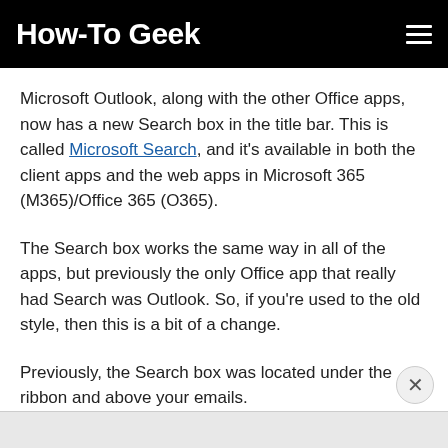How-To Geek
Microsoft Outlook, along with the other Office apps, now has a new Search box in the title bar. This is called Microsoft Search, and it's available in both the client apps and the web apps in Microsoft 365 (M365)/Office 365 (O365).
The Search box works the same way in all of the apps, but previously the only Office app that really had Search was Outlook. So, if you're used to the old style, then this is a bit of a change.
Previously, the Search box was located under the ribbon and above your emails.